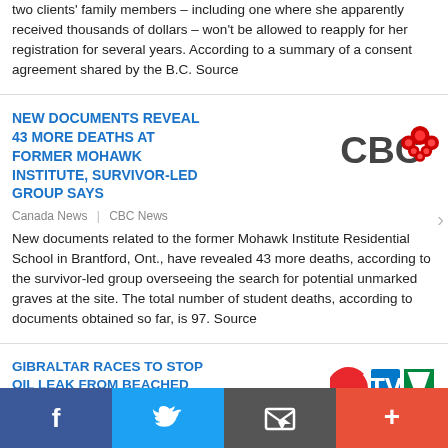two clients' family members – including one where she apparently received thousands of dollars – won't be allowed to reapply for her registration for several years. According to a summary of a consent agreement shared by the B.C. Source
NEW DOCUMENTS REVEAL 43 MORE DEATHS AT FORMER MOHAWK INSTITUTE, SURVIVOR-LED GROUP SAYS
Canada News | CBC News
New documents related to the former Mohawk Institute Residential School in Brantford, Ont., have revealed 43 more deaths, according to the survivor-led group overseeing the search for potential unmarked graves at the site. The total number of student deaths, according to documents obtained so far, is 97. Source
GIBRALTAR RACES TO STOP OIL LEAK FROM BEACHED CARGO SHIP AFTER COLLISION WITH GAS TANKER
World News | CTV News
A cargo ship that collided with a natural gas